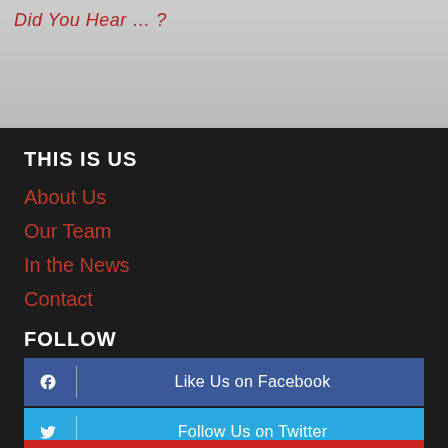Did You Hear … ?
THIS IS US
About Us
Our Team
In the News
Contact
FOLLOW
Like Us on Facebook
Follow Us on Twitter
Follow Us on YouTube